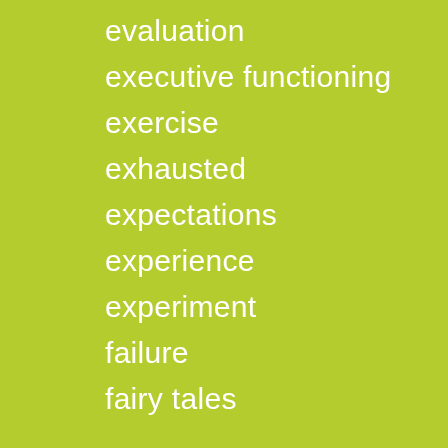evaluation
executive functioning
exercise
exhausted
expectations
experience
experiment
failure
fairy tales